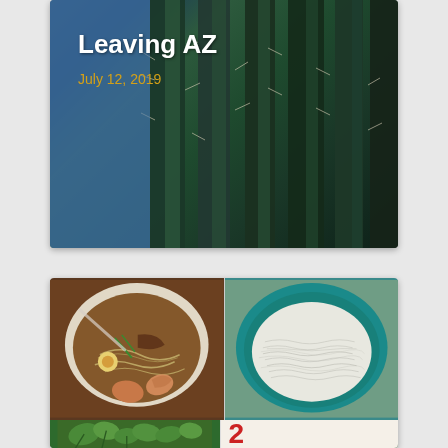[Figure (photo): Blog post card with cactus background photo showing tall green saguaro cactus with spines, overlaid with white bold title 'Leaving AZ' and date 'July 12, 2019' in gold/amber color]
[Figure (photo): Photo collage card showing two food bowls: left image is a white bowl of Asian noodle soup with shrimp, meat, egg, and broth; right image is a teal bowl filled with white rice noodles or vermicelli; bottom row shows green herbs on left and a partial red number on right]